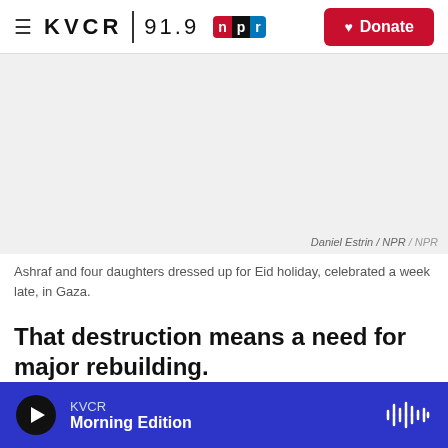KVCR 91.9 NPR | Donate
[Figure (photo): Light gray image area placeholder representing a photo of Ashraf and four daughters dressed up for Eid holiday in Gaza]
Daniel Estrin / NPR / NPR
Ashraf and four daughters dressed up for Eid holiday, celebrated a week late, in Gaza.
That destruction means a need for major rebuilding.
Hundreds of homes and businesses were
KVCR Morning Edition